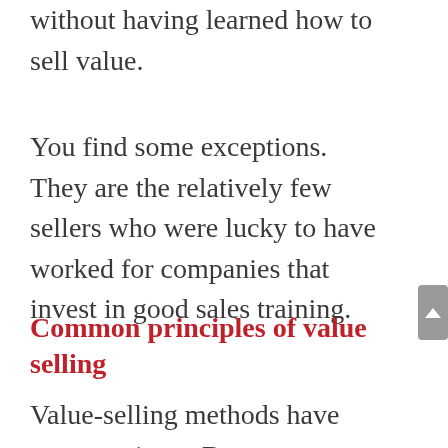without having learned how to sell value.
You find some exceptions. They are the relatively few sellers who were lucky to have worked for companies that invest in good sales training.
Common principles of value selling
Value-selling methods have many variants. But